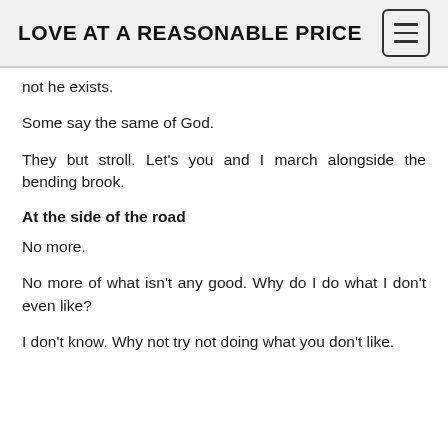LOVE AT A REASONABLE PRICE
not he exists.
Some say the same of God.
They but stroll. Let's you and I march alongside the bending brook.
At the side of the road
No more.
No more of what isn't any good. Why do I do what I don't even like?
I don't know. Why not try not doing what you don't like.